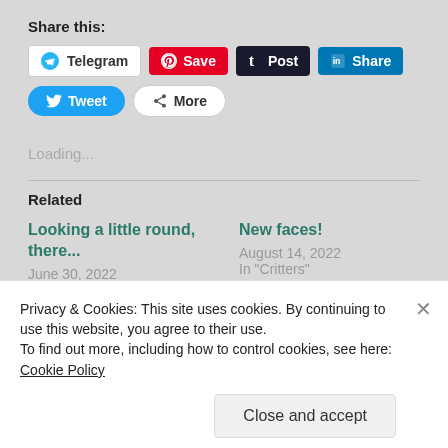Share this:
Telegram Save Post Share Tweet More
Loading...
Related
Looking a little round, there...
June 30, 2022
New faces!
August 14, 2022
In "Critters"
Privacy & Cookies: This site uses cookies. By continuing to use this website, you agree to their use.
To find out more, including how to control cookies, see here: Cookie Policy
Close and accept